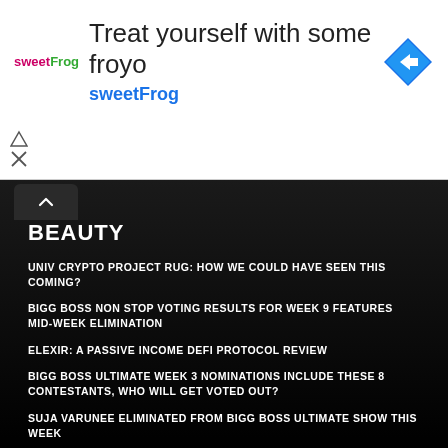[Figure (other): SweetFrog frozen yogurt advertisement banner with logo, headline text 'Treat yourself with some froyo', brand name 'sweetFrog', and a blue diamond navigation icon]
BEAUTY
UNIV CRYPTO PROJECT RUG: HOW WE COULD HAVE SEEN THIS COMING?
BIGG BOSS NON STOP VOTING RESULTS FOR WEEK 9 FEATURES MID-WEEK ELIMINATION
ELEXIR: A PASSIVE INCOME DEFI PROTOCOL REVIEW
BIGG BOSS ULTIMATE WEEK 3 NOMINATIONS INCLUDE THESE 8 CONTESTANTS, WHO WILL GET VOTED OUT?
SUJA VARUNEE ELIMINATED FROM BIGG BOSS ULTIMATE SHOW THIS WEEK
FASHION
UNIV CRYPTO PROJECT RUG: HOW WE COULD HAVE SEEN THIS COMING?